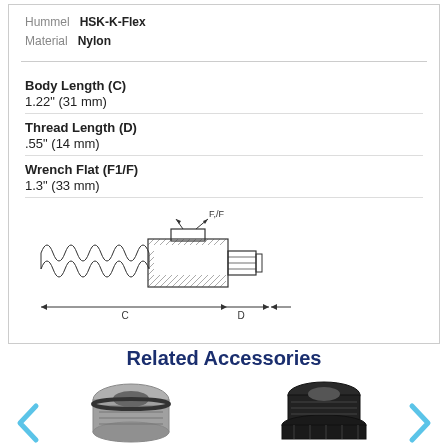Hummel  HSK-K-Flex
Material  Nylon
Body Length (C)
1.22" (31 mm)
Thread Length (D)
.55" (14 mm)
Wrench Flat (F1/F)
1.3" (33 mm)
[Figure (engineering-diagram): Cross-section technical diagram of HSK-K-Flex conduit fitting showing flexible conduit on left, connector body with hatching in center-right, hex wrench flat labeled F,/F at top, dimension C spanning full body length, and dimension D at thread end]
Related Accessories
[Figure (photo): Metal conduit fitting connector, silver/nickel finish, threaded body]
[Figure (photo): Black plastic conduit fitting, dark body with flanged base]